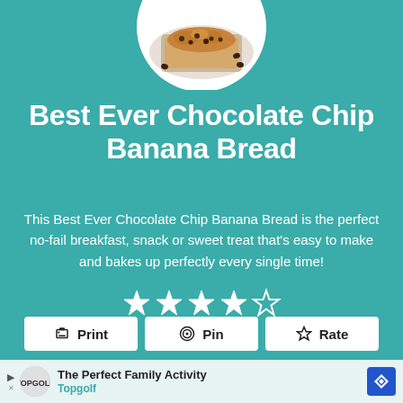[Figure (photo): Circular photo of chocolate chip banana bread in a loaf pan on a white plate with chocolate chips scattered around]
Best Ever Chocolate Chip Banana Bread
This Best Ever Chocolate Chip Banana Bread is the perfect no-fail breakfast, snack or sweet treat that's easy to make and bakes up perfectly every single time!
[Figure (other): 5 white star rating icons]
4.84 from 12 votes
Print  Pin  Rate
The Perfect Family Activity Topgolf